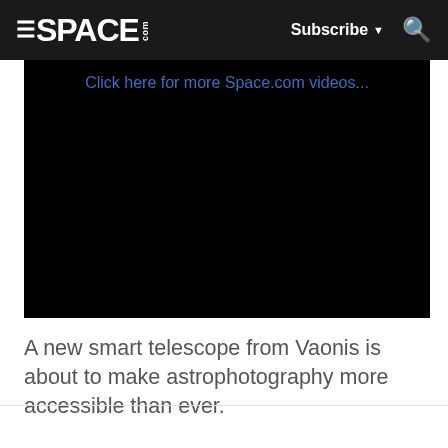SPACE.com — Subscribe — Search
[Figure (screenshot): Black video player embed with 'Click here for more Space.com videos...' link in blue text at the top]
A new smart telescope from Vaonis is about to make astrophotography more accessible than ever.